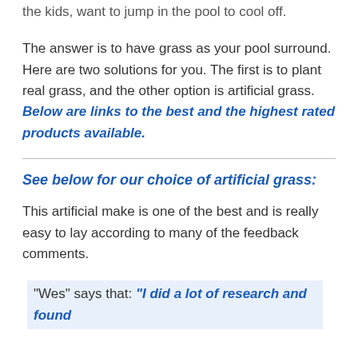the kids, want to jump in the pool to cool off.
The answer is to have grass as your pool surround. Here are two solutions for you. The first is to plant real grass, and the other option is artificial grass. Below are links to the best and the highest rated products available.
See below for our choice of artificial grass:
This artificial make is one of the best and is really easy to lay according to many of the feedback comments.
"Wes" says that: “I did a lot of research and found